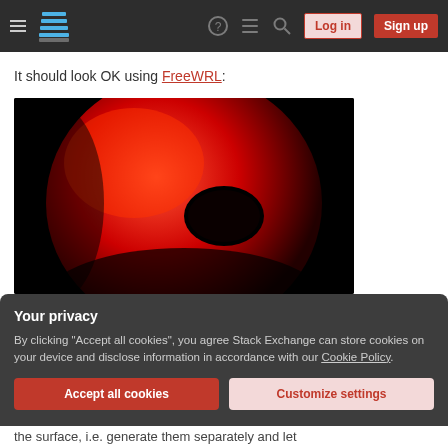Stack Exchange navigation bar with hamburger menu, logo, help, chat, search icons, Log in and Sign up buttons
It should look OK using FreeWRL:
[Figure (photo): A red torus (donut shape) rendered in 3D against a black background, shown using FreeWRL renderer.]
Your privacy
By clicking "Accept all cookies", you agree Stack Exchange can store cookies on your device and disclose information in accordance with our Cookie Policy.
Accept all cookies   Customize settings
the surface, i.e. generate them separately and let